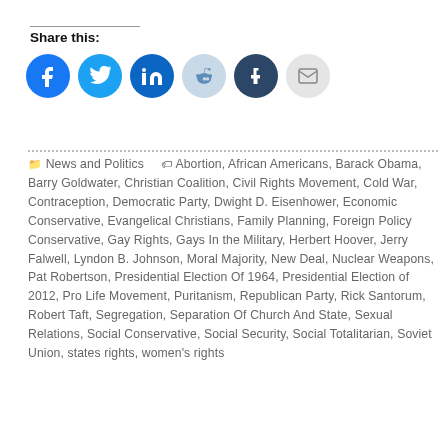Share this:
[Figure (infographic): Row of social media share buttons: Facebook (blue circle), Twitter (light blue circle), LinkedIn (dark blue circle), Reddit (light blue circle), Tumblr (dark navy circle), Email (grey circle)]
News and Politics  Abortion, African Americans, Barack Obama, Barry Goldwater, Christian Coalition, Civil Rights Movement, Cold War, Contraception, Democratic Party, Dwight D. Eisenhower, Economic Conservative, Evangelical Christians, Family Planning, Foreign Policy Conservative, Gay Rights, Gays In the Military, Herbert Hoover, Jerry Falwell, Lyndon B. Johnson, Moral Majority, New Deal, Nuclear Weapons, Pat Robertson, Presidential Election Of 1964, Presidential Election of 2012, Pro Life Movement, Puritanism, Republican Party, Rick Santorum, Robert Taft, Segregation, Separation Of Church And State, Sexual Relations, Social Conservative, Social Security, Social Totalitarian, Soviet Union, states rights, women's rights